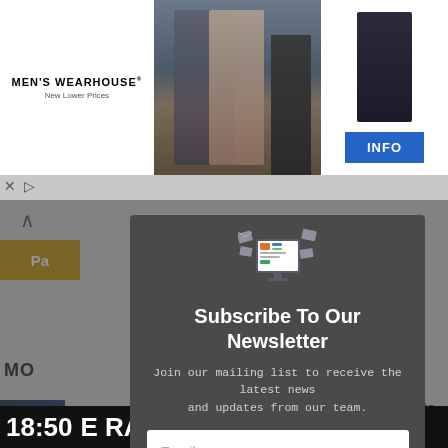[Figure (screenshot): Men's Wearhouse advertisement banner with couple in formal wear and suit figure, with INFO button]
[Figure (screenshot): Newsletter subscription modal popup over a website background with email input and subscribe button]
Subscribe To Our Newsletter
Join our mailing list to receive the latest news and updates from our team.
Email
18:50   E RAMADAN 2022 WORKIN